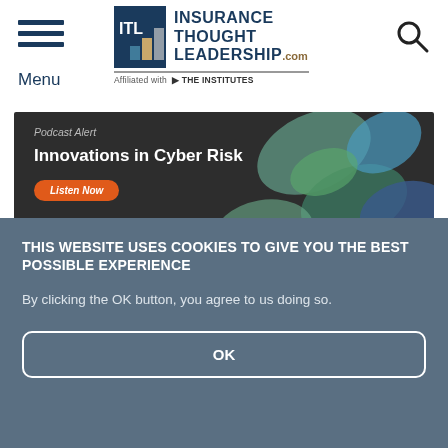Insurance Thought Leadership .com — Affiliated with THE INSTITUTES — Menu | Search
[Figure (screenshot): Insurance Thought Leadership ITL logo with affiliated THE INSTITUTES tagline]
Podcast Alert
Innovations in Cyber Risk
Listen Now
THIS WEBSITE USES COOKIES TO GIVE YOU THE BEST POSSIBLE EXPERIENCE
By clicking the OK button, you agree to us doing so.
OK